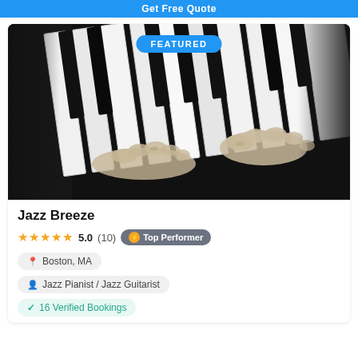Get Free Quote
[Figure (photo): Black and white photo of two hands playing piano keys, featured card image]
FEATURED
Jazz Breeze
★★★★★ 5.0 (10) 🏅 Top Performer
📍 Boston, MA
👤 Jazz Pianist / Jazz Guitarist
✓ 16 Verified Bookings